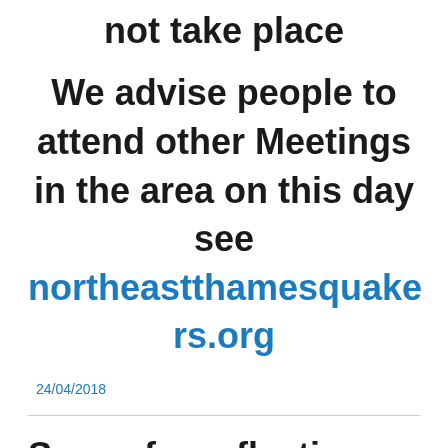not take place
We advise people to attend other Meetings in the area on this day see northeastthamesquakers.org
24/04/2018
Space for reflection Saturday